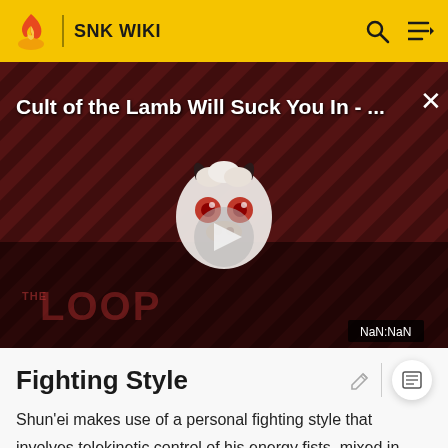SNK WIKI
[Figure (screenshot): Video thumbnail for 'Cult of the Lamb Will Suck You In - ...' with a cartoon character mascot and play button, showing 'THE LOOP' watermark and NaN:NaN timer]
Fighting Style
Shun'ei makes use of a personal fighting style that involves telekinetic control of his energy fists, mixed in with control via Hakkyokuseiken via Tung Fu Rue's